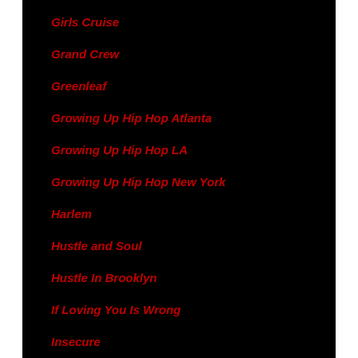Girls Cruise
Grand Crew
Greenleaf
Growing Up Hip Hop Atlanta
Growing Up Hip Hop LA
Growing Up Hip Hop New York
Harlem
Hustle and Soul
Hustle In Brooklyn
If Loving You Is Wrong
Insecure
K.Michelle: My Killer Body
Kandi & The Gang
Ladies Night
Ladies Who List
Legendary
Little Women Atlanta